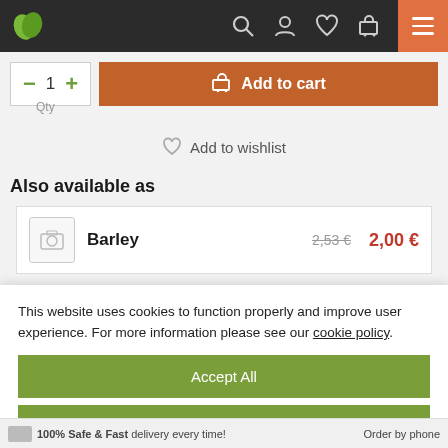[Figure (screenshot): Navigation bar with green leaf logo, search icon, user icon, heart icon, cart icon, and orange hamburger menu button on dark background]
[Figure (screenshot): Add to cart button row with quantity selector (minus, 1, plus) and orange Add to cart button with cart icon]
Qty
[Figure (screenshot): Add to wishlist row with heart icon]
Also available as
[Figure (screenshot): Barley product card with camera placeholder image, bold name Barley, crossed out price 2,53€ and red price 2,00€]
This website uses cookies to function properly and improve user experience. For more information please see our cookie policy.
[Figure (screenshot): Accept All green button]
[Figure (screenshot): Accept Strictly Necessary green button]
[Figure (screenshot): Settings green button]
100% Safe & Fast delivery every time!   Order by phone